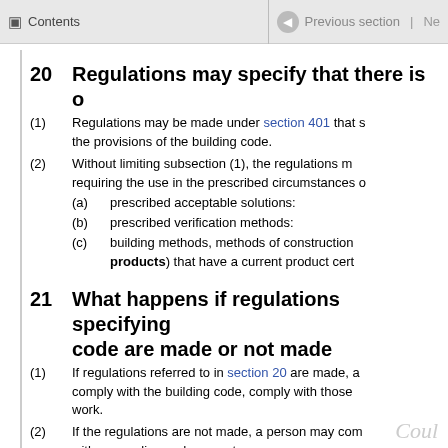Contents | Previous section | Ne
20  Regulations may specify that there is o
(1) Regulations may be made under section 401 that s the provisions of the building code.
(2) Without limiting subsection (1), the regulations m requiring the use in the prescribed circumstances o
(a) prescribed acceptable solutions:
(b) prescribed verification methods:
(c) building methods, methods of construction products) that have a current product cert
21  What happens if regulations specifying code are made or not made
(1) If regulations referred to in section 20 are made, a comply with the building code, comply with those work.
(2) If the regulations are not made, a person may com with a compliance document.